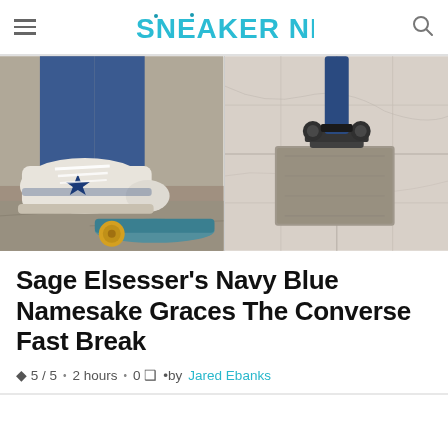SNEAKER NEWS
[Figure (photo): Two-panel hero image: left panel shows a person wearing white and navy Converse Fast Break sneakers on a skateboard on pavement; right panel shows a skateboard truck/wheel detail on a marble or tiled surface.]
Sage Elsesser's Navy Blue Namesake Graces The Converse Fast Break
♦ 5 / 5 • 2 hours • 0 □ •by Jared Ebanks